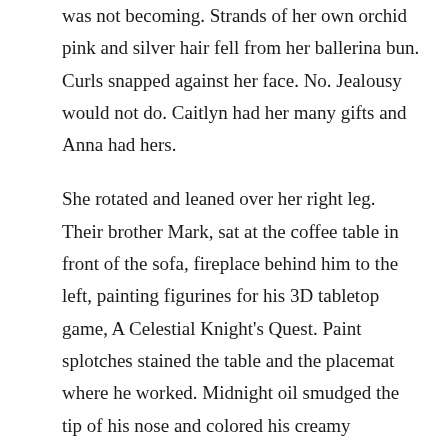was not becoming. Strands of her own orchid pink and silver hair fell from her ballerina bun. Curls snapped against her face. No. Jealousy would not do. Caitlyn had her many gifts and Anna had hers.
She rotated and leaned over her right leg. Their brother Mark, sat at the coffee table in front of the sofa, fireplace behind him to the left, painting figurines for his 3D tabletop game, A Celestial Knight's Quest. Paint splotches stained the table and the placemat where he worked. Midnight oil smudged the tip of his nose and colored his creamy knuckles.
Flames danced in the hearth casting shadows against the wall. Wood crackled and popped percussive and sizzling. His blond hair curled around his ears, damp with sweat. He took after their dad, more Scandinavian in appearance, big for his